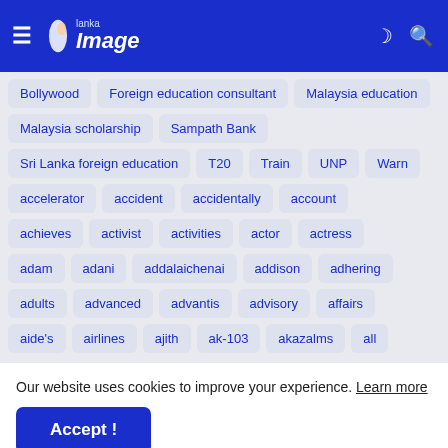Lanka Image
Bollywood
Foreign education consultant
Malaysia education
Malaysia scholarship
Sampath Bank
Sri Lanka foreign education
T20
Train
UNP
Warn
accelerator
accident
accidentally
account
achieves
activist
activities
actor
actress
adam
adani
addalaichenai
addison
adhering
adults
advanced
advantis
advisory
affairs
aide's
airlines
ajith
ak-103
akazalms
all
Our website uses cookies to improve your experience. Learn more
Accept !